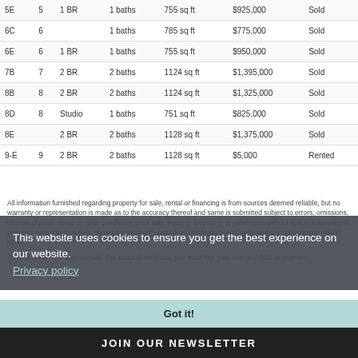| Unit | Floor | Beds | Baths | Size | Price | Status |
| --- | --- | --- | --- | --- | --- | --- |
| 5E | 5 | 1 BR | 1 baths | 755 sq ft | $925,000 | Sold |
| 6C | 6 |  | 1 baths | 785 sq ft | $775,000 | Sold |
| 6E | 6 | 1 BR | 1 baths | 755 sq ft | $950,000 | Sold |
| 7B | 7 | 2 BR | 2 baths | 1124 sq ft | $1,395,000 | Sold |
| 8B | 8 | 2 BR | 2 baths | 1124 sq ft | $1,325,000 | Sold |
| 8D | 8 | Studio | 1 baths | 751 sq ft | $825,000 | Sold |
| 8E |  | 2 BR | 2 baths | 1128 sq ft | $1,375,000 | Sold |
| 9-E | 9 | 2 BR | 2 baths | 1128 sq ft | $5,000 | Rented |
All information furnished regarding property for sale, rental or financing is from sources deemed reliable, but no warranty or representation is made as to the accuracy thereof and same is submitted subject to errors, omissions, change of price, rental or other conditions, prior sale, lease or financing, or withdrawal without notice. International currency conversions where shown are estimates based on recent exchange rates and are approximate asking prices.
All dimensions are approximate. For exact dimensions, you must hire your own architect or engineer.
This website uses cookies to ensure you get the best experience on our website.
Privacy policy
Got it!
JOIN OUR NEWSLETTER